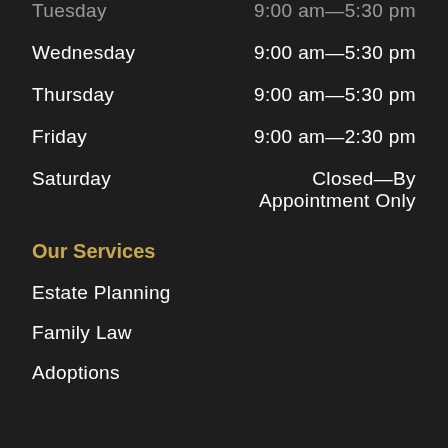Tuesday  9:00 am—5:30 pm
Wednesday  9:00 am—5:30 pm
Thursday  9:00 am—5:30 pm
Friday  9:00 am—2:30 pm
Saturday  Closed—By Appointment Only
Our Services
Estate Planning
Family Law
Adoptions